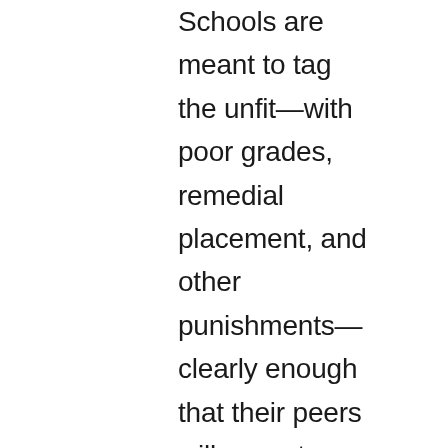Schools are meant to tag the unfit—with poor grades, remedial placement, and other punishments—clearly enough that their peers will accept them as inferior and effectively bar them from the reproductive